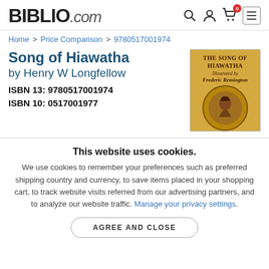BIBLIO.com
Home > Price Comparison > 9780517001974
Song of Hiawatha by Henry W Longfellow
ISBN 13: 9780517001974
ISBN 10: 0517001977
[Figure (photo): Book cover of The Song of Hiawatha illustrated by Frederic Remington]
This website uses cookies.
We use cookies to remember your preferences such as preferred shipping country and currency, to save items placed in your shopping cart, to track website visits referred from our advertising partners, and to analyze our website traffic. Manage your privacy settings.
AGREE AND CLOSE